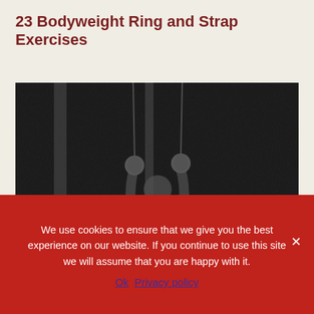23 Bodyweight Ring and Strap Exercises
[Figure (photo): Black and white photograph of a gymnast or athlete holding gymnastic rings above their head, viewed from below against a dark grainy background with vertical poles or ropes visible.]
We use cookies to ensure that we give you the best experience on our website. If you continue to use this site we will assume that you are happy with it.
Ok   Privacy policy